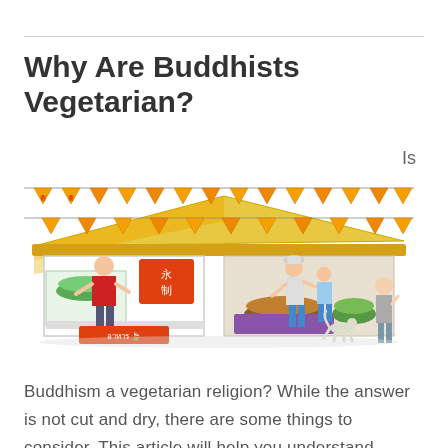Why Are Buddhists Vegetarian?
[Figure (illustration): Cartoon illustration of a Thai vegetarian food stall with orange/yellow striped awning, pennant flags with Chinese characters, a vendor in a red apron serving food, two customers (an adult and child) selecting food, a small dog, and a child standing to the right. The stall has a sign in Thai script.]
Is Buddhism a vegetarian religion? While the answer is not cut and dry, there are some things to consider. This article will help you understand some of the reasons behÃ­nd Buddhism's